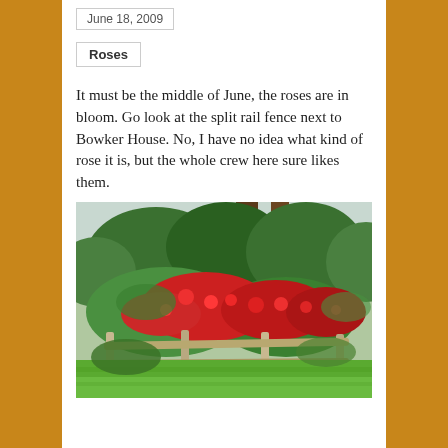June 18, 2009
Roses
It must be the middle of June, the roses are in bloom. Go look at the split rail fence next to Bowker House. No, I have no idea what kind of rose it is, but the whole crew here sure likes them.
[Figure (photo): A photograph of red roses blooming over a split rail wooden fence, with green lawn in the foreground and tall trees in the background.]